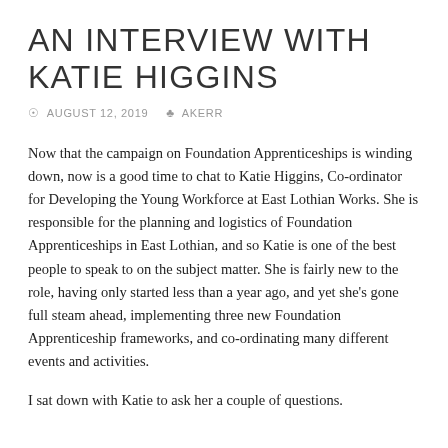AN INTERVIEW WITH KATIE HIGGINS
© AUGUST 12, 2019   ♣ AKERR
Now that the campaign on Foundation Apprenticeships is winding down, now is a good time to chat to Katie Higgins, Co-ordinator for Developing the Young Workforce at East Lothian Works. She is responsible for the planning and logistics of Foundation Apprenticeships in East Lothian, and so Katie is one of the best people to speak to on the subject matter. She is fairly new to the role, having only started less than a year ago, and yet she's gone full steam ahead, implementing three new Foundation Apprenticeship frameworks, and co-ordinating many different events and activities.
I sat down with Katie to ask her a couple of questions.